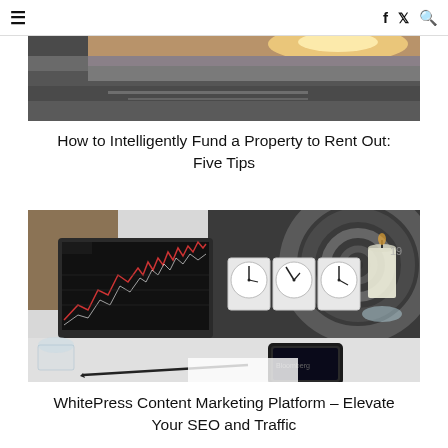≡   f  𝓽  🔍
[Figure (photo): Partial view of a parking lot or road surface with a bright light source in the upper right area, dark asphalt visible]
How to Intelligently Fund a Property to Rent Out: Five Tips
[Figure (photo): Laptop displaying a financial stock chart with red and white candlestick lines on black screen, alongside analog clocks, a candle, and a smartphone on a white desk, with an abstract spiral architectural background]
WhitePress Content Marketing Platform – Elevate Your SEO and Traffic